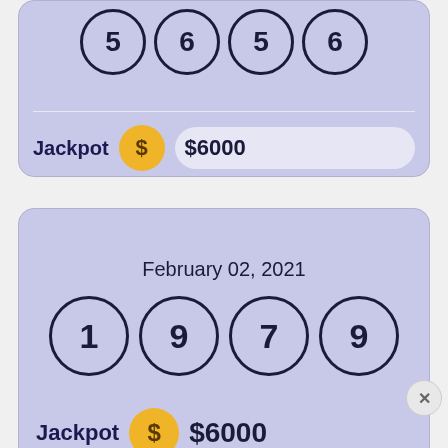[Figure (screenshot): Lottery app screenshot showing two jackpot cards with lottery balls and jackpot amounts, plus an ad banner for a story game]
Jackpot  $6000
February 02, 2021
1  9  7  9
Jackpot  $6000
Ad
Choose your story
Play Now